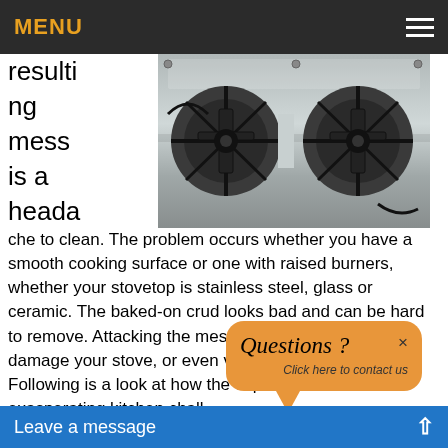MENU
[Figure (photo): Close-up photo of a gas stove top with black cast iron grates on stainless steel surface]
resulting in a headache to clean. The problem occurs whether you have a smooth cooking surface or one with raised burners, whether your stovetop is stainless steel, glass or ceramic. The baked-on crud looks bad and can be hard to remove. Attacking the mess the wrong way can damage your stove, or even void your warranty. Following is a look at how the experts tackle this exasperating kitchen challenge.
Go Natural
Most stovetops respond
[Figure (other): Questions? Click here to contact us - orange popup widget]
Leave a message